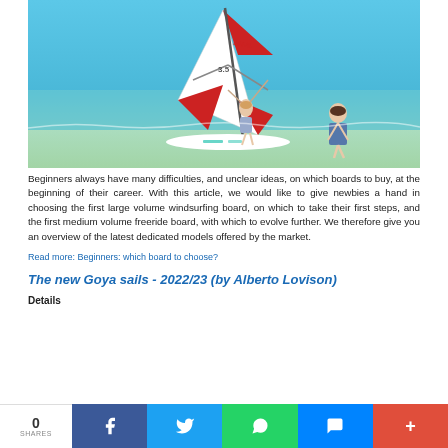[Figure (photo): A woman windsurfing in shallow turquoise water near a beach, holding a red and white sail marked '3.5 DRIVE', standing on a white board with teal stripes. A man stands in the background watching.]
Beginners always have many difficulties, and unclear ideas, on which boards to buy, at the beginning of their career. With this article, we would like to give newbies a hand in choosing the first large volume windsurfing board, on which to take their first steps, and the first medium volume freeride board, with which to evolve further. We therefore give you an overview of the latest dedicated models offered by the market.
Read more: Beginners: which board to choose?
The new Goya sails - 2022/23 (by Alberto Lovison)
Details
0 SHARES  [Facebook] [Twitter] [WhatsApp] [Messenger] [+]